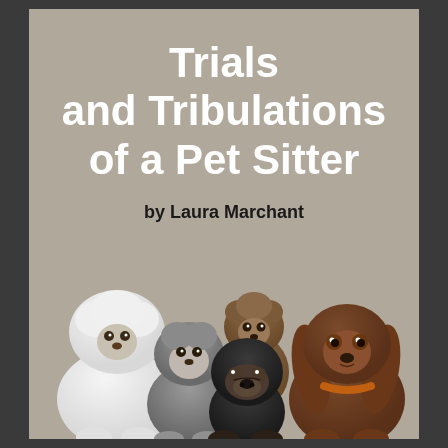Trials and Tribulations of a Pet Sitter
by Laura Marchant
[Figure (photo): Four dogs sitting together against a taupe background: a white fluffy dog (Old English Sheepdog type) on the left, a grey/white small dog (Shih Tzu type) in center-left, a black pug in the center-front, a brown/chocolate spaniel on the right, and a brown doodle/poodle-mix behind center.]